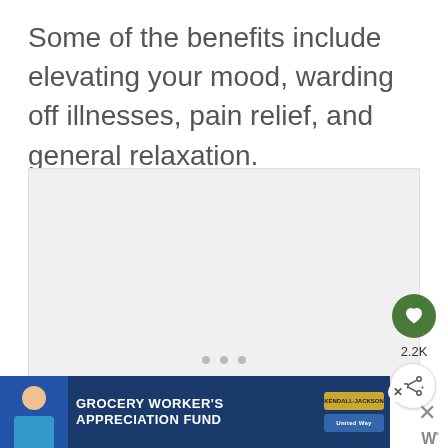Some of the benefits include elevating your mood, warding off illnesses, pain relief, and general relaxation.
[Figure (other): Gray placeholder image area with three small dots at bottom center, indicating a loading or empty image slot]
[Figure (screenshot): Advertisement banner for Grocery Worker's Appreciation Fund featuring Kendall-Jackson and United Way logos, with a person in a blue shirt and close button]